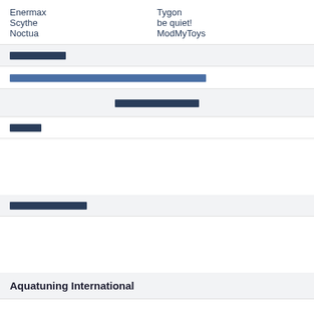Enermax
Scythe
Noctua
Tygon
be quiet!
ModMyToys
████████
████████████████████████████████████████████████████████████████████████
██████████
████
██████████
Aquatuning International